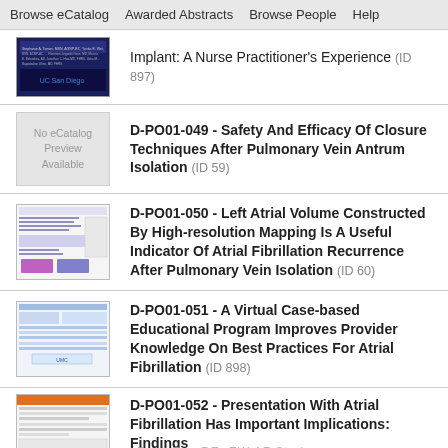Browse eCatalog | Awarded Abstracts | Browse People | Help
Implant: A Nurse Practitioner's Experience (ID 897)
D-PO01-049 - Safety And Efficacy Of Closure Techniques After Pulmonary Vein Antrum Isolation (ID 59)
D-PO01-050 - Left Atrial Volume Constructed By High-resolution Mapping Is A Useful Indicator Of Atrial Fibrillation Recurrence After Pulmonary Vein Isolation (ID 60)
D-PO01-051 - A Virtual Case-based Educational Program Improves Provider Knowledge On Best Practices For Atrial Fibrillation (ID 898)
D-PO01-052 - Presentation With Atrial Fibrillation Has Important Implications: Findings From The REVIEW AF Study (ID ...)